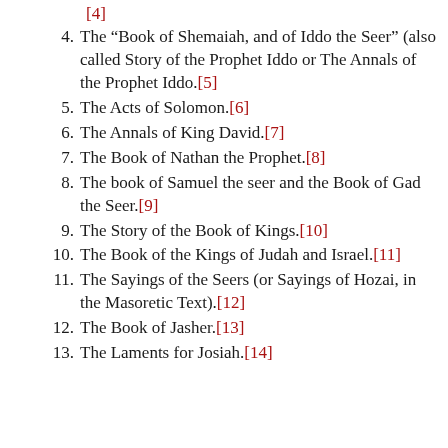[4]
4. The “Book of Shemaiah, and of Iddo the Seer” (also called Story of the Prophet Iddo or The Annals of the Prophet Iddo.[5]
5. The Acts of Solomon.[6]
6. The Annals of King David.[7]
7. The Book of Nathan the Prophet.[8]
8. The book of Samuel the seer and the Book of Gad the Seer.[9]
9. The Story of the Book of Kings.[10]
10. The Book of the Kings of Judah and Israel.[11]
11. The Sayings of the Seers (or Sayings of Hozai, in the Masoretic Text).[12]
12. The Book of Jasher.[13]
13. The Laments for Josiah.[14]